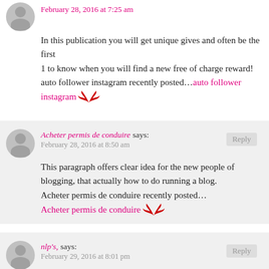February 28, 2016 at 7:25 am
In this publication you will get unique gives and often be the first
1 to know when you will find a new free of charge reward!
auto follower instagram recently posted…auto follower instagram
Acheter permis de conduire says:
February 28, 2016 at 8:50 am
This paragraph offers clear idea for the new people of blogging, that actually how to do running a blog.
Acheter permis de conduire recently posted…
Acheter permis de conduire
nlp's, says:
February 29, 2016 at 8:01 pm